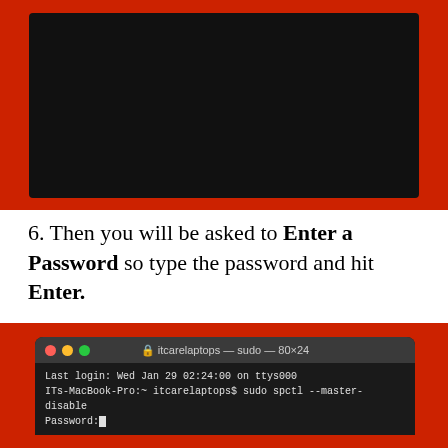[Figure (screenshot): macOS terminal window showing a black screen (previous step)]
6. Then you will be asked to Enter a Password so type the password and hit Enter.
[Figure (screenshot): macOS Terminal window showing: Last login: Wed Jan 29 02:24:00 on ttys000, ITs-MacBook-Pro:~ itcarelaptops$ sudo spctl --master-disable, Password: with cursor]